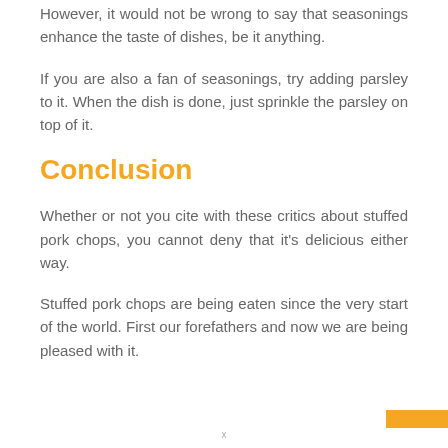However, it would not be wrong to say that seasonings enhance the taste of dishes, be it anything.
If you are also a fan of seasonings, try adding parsley to it. When the dish is done, just sprinkle the parsley on top of it.
Conclusion
Whether or not you cite with these critics about stuffed pork chops, you cannot deny that it's delicious either way.
Stuffed pork chops are being eaten since the very start of the world. First our forefathers and now we are being pleased with it.